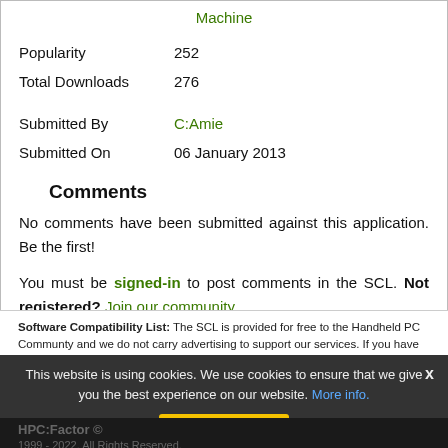Machine
Popularity    252
Total Downloads    276
Submitted By    C:Amie
Submitted On    06 January 2013
Comments
No comments have been submitted against this application. Be the first!
You must be signed-in to post comments in the SCL. Not registered? Join our community.
Software Compatibility List: The SCL is provided for free to the Handheld PC Communty and we do not carry advertising to support our services. If you have found the SCL useful, please consider donating.
This website is using cookies. We use cookies to ensure that we give you the best experience on our website. More info.
HPC:Factor ©
1999 - 2022. All Rights Reserved.